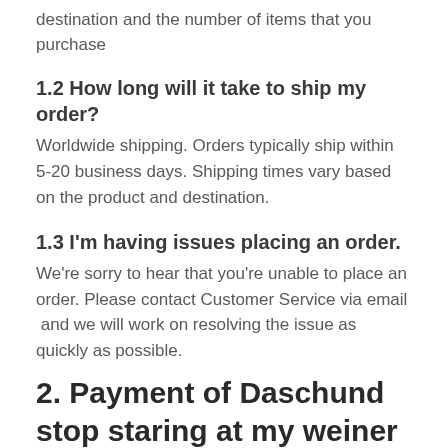destination and the number of items that you purchase
1.2 How long will it take to ship my order?
Worldwide shipping. Orders typically ship within 5-20 business days. Shipping times vary based on the product and destination.
1.3 I'm having issues placing an order.
We're sorry to hear that you're unable to place an order. Please contact Customer Service via email  and we will work on resolving the issue as quickly as possible.
2. Payment of Daschund stop staring at my weiner mug
2.1 We currently accept the following forms of payment:
Credit Cards: We accept Visa, American Express,